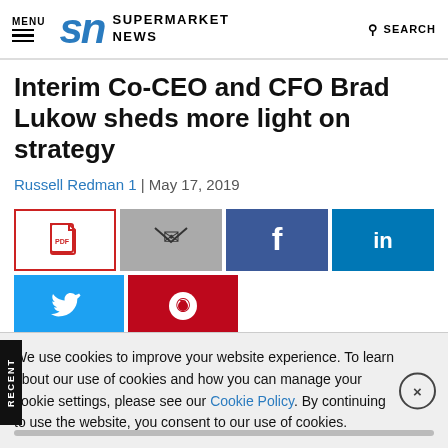MENU | Supermarket News | SEARCH
Interim Co-CEO and CFO Brad Lukow sheds more light on strategy
Russell Redman 1 | May 17, 2019
[Figure (screenshot): Social share buttons: PDF, Email, Facebook, LinkedIn, Twitter, Pinterest]
We use cookies to improve your website experience. To learn about our use of cookies and how you can manage your cookie settings, please see our Cookie Policy. By continuing to use the website, you consent to our use of cookies.